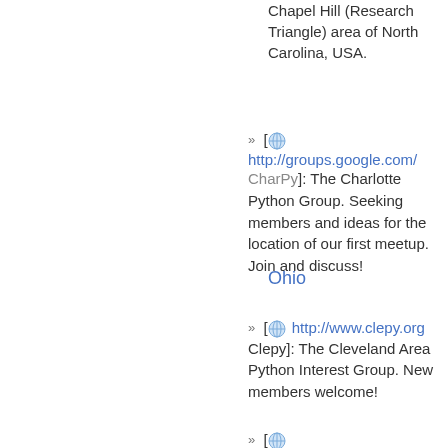Chapel Hill (Research Triangle) area of North Carolina, USA.
[ http://groups.google.com/ CharPy]: The Charlotte Python Group. Seeking members and ideas for the location of our first meetup. Join and discuss!
Ohio
[ http://www.clepy.org Clepy]: The Cleveland Area Python Interest Group. New members welcome!